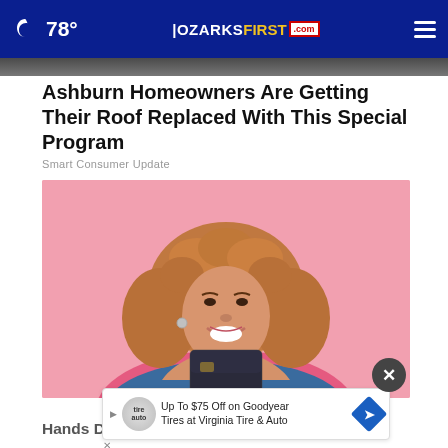78° | OZARKSFIRST.com
[Figure (photo): Partial view of a roof at the top of the page, cropped strip]
Ashburn Homeowners Are Getting Their Roof Replaced With This Special Program
Smart Consumer Update
[Figure (photo): Smiling young woman with curly hair holding a dark credit card against a pink background]
Up To $75 Off on Goodyear Tires at Virginia Tire & Auto
Hands Down the Top Credit Card of 2022